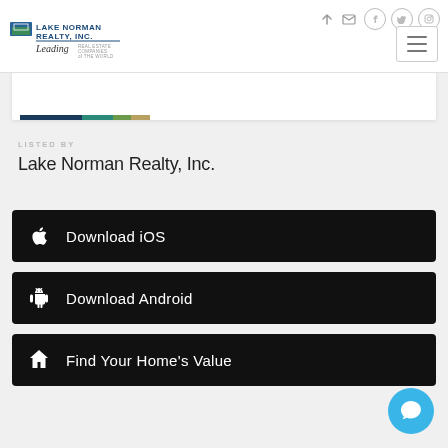[Figure (logo): Lake Norman Realty, Inc. logo with Leading Real Estate Companies of the World tagline]
LISTED BY
Lake Norman Realty, Inc.
Download iOS
Download Android
Find Your Home's Value